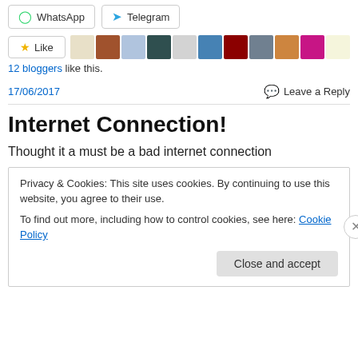[Figure (screenshot): WhatsApp and Telegram social share buttons]
[Figure (screenshot): Like button with star icon and 11 blogger avatar thumbnails]
12 bloggers like this.
17/06/2017
Leave a Reply
Internet Connection!
Thought it a must be a bad internet connection
Privacy & Cookies: This site uses cookies. By continuing to use this website, you agree to their use.
To find out more, including how to control cookies, see here: Cookie Policy